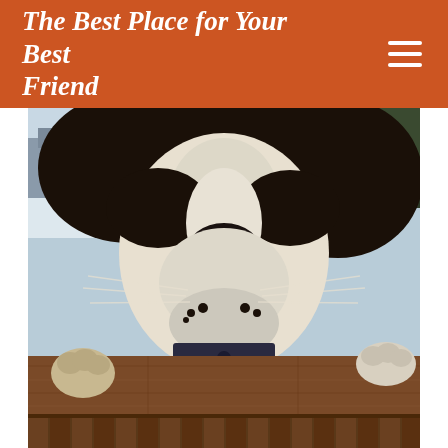The Best Place for Your Best Friend
[Figure (photo): Close-up photo of a Saint Bernard dog peering over a wooden fence rail, with its large black and white face filling the frame, tongue slightly visible, paws on fence, snow and trees visible in background]